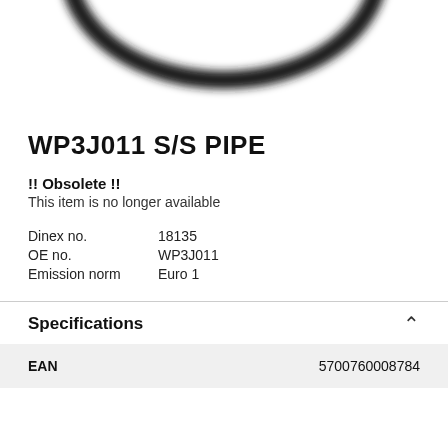[Figure (photo): Partial photo of a stainless steel pipe fitting, showing a curved black ring/pipe shape against white background, cropped at top]
WP3J011 S/S PIPE
!! Obsolete !!
This item is no longer available
Dinex no.   18135
OE no.   WP3J011
Emission norm Euro 1
Specifications
| EAN |  |
| --- | --- |
| EAN | 5700760008784 |